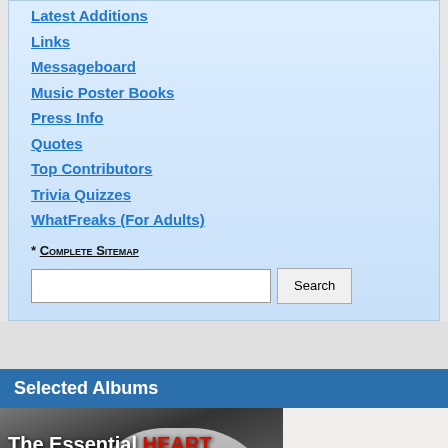Latest Additions
Links
Messageboard
Music Poster Books
Press Info
Quotes
Top Contributors
Trivia Quizzes
WhatFreaks (For Adults)
* Complete Sitemap
Selected Albums
[Figure (photo): Album cover for 'The Essential HEART' showing two women in black and white photography with the title text overlaid, 'HEART' in red.]